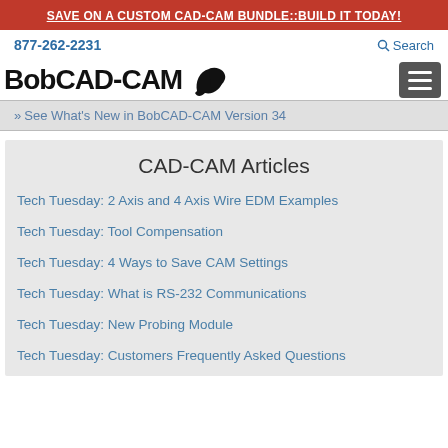SAVE ON A CUSTOM CAD-CAM BUNDLE::BUILD IT TODAY!
877-262-2231
Search
[Figure (logo): BobCAD-CAM logo with bird icon and hamburger menu button]
» See What's New in BobCAD-CAM Version 34
CAD-CAM Articles
Tech Tuesday: 2 Axis and 4 Axis Wire EDM Examples
Tech Tuesday: Tool Compensation
Tech Tuesday: 4 Ways to Save CAM Settings
Tech Tuesday: What is RS-232 Communications
Tech Tuesday: New Probing Module
Tech Tuesday: Customers Frequently Asked Questions